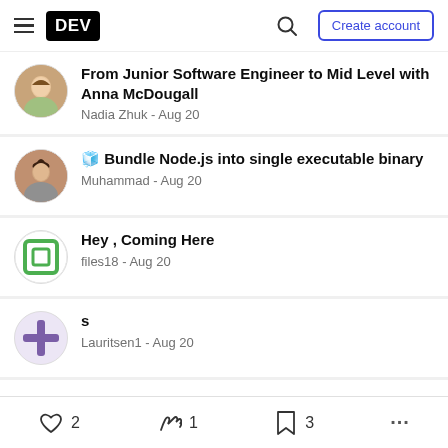DEV — Create account
From Junior Software Engineer to Mid Level with Anna McDougall — Nadia Zhuk - Aug 20
🧊 Bundle Node.js into single executable binary — Muhammad - Aug 20
Hey , Coming Here — files18 - Aug 20
s — Lauritsen1 - Aug 20
2  1  3  ...